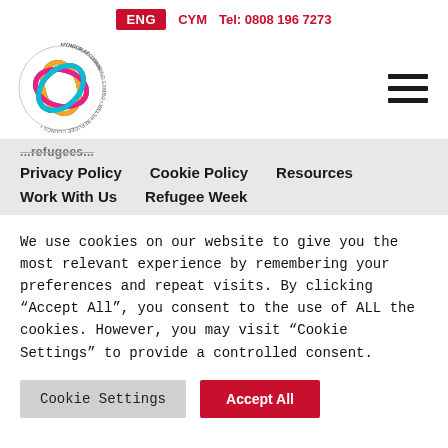ENG  CYM  Tel: 0808 196 7273
[Figure (logo): Welsh Refugee Council circular logo with coloured rings and text around circumference]
Privacy Policy   Cookie Policy   Resources
Work With Us   Refugee Week
We use cookies on our website to give you the most relevant experience by remembering your preferences and repeat visits. By clicking “Accept All”, you consent to the use of ALL the cookies. However, you may visit “Cookie Settings” to provide a controlled consent.
Cookie Settings   Accept All